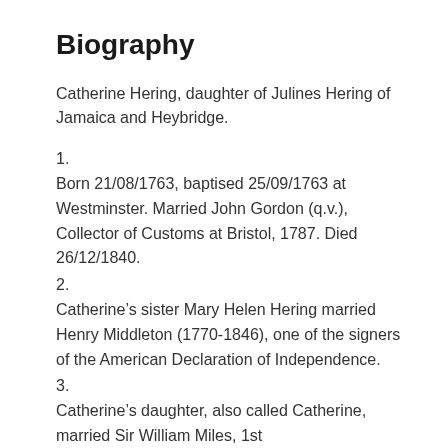Biography
Catherine Hering, daughter of Julines Hering of Jamaica and Heybridge.
1.
Born 21/08/1763, baptised 25/09/1763 at Westminster. Married John Gordon (q.v.), Collector of Customs at Bristol, 1787. Died 26/12/1840.
2.
Catherine’s sister Mary Helen Hering married Henry Middleton (1770-1846), one of the signers of the American Declaration of Independence.
3.
Catherine’s daughter, also called Catherine, married Sir William Miles, 1st